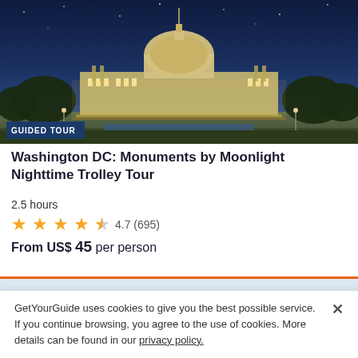[Figure (photo): Nighttime photo of the US Capitol building illuminated against a dark blue sky, with trees visible in the foreground. A 'GUIDED TOUR' badge overlays the bottom-left of the image.]
Washington DC: Monuments by Moonlight Nighttime Trolley Tour
2.5 hours
4.7 (695)
From US$ 45 per person
If you book your Tour & Activity within 24 hours of booking your easyJet flight you will purchase what is known as a Linked Travel Arrangement. This means
GetYourGuide uses cookies to give you the best possible service. If you continue browsing, you agree to the use of cookies. More details can be found in our privacy policy.